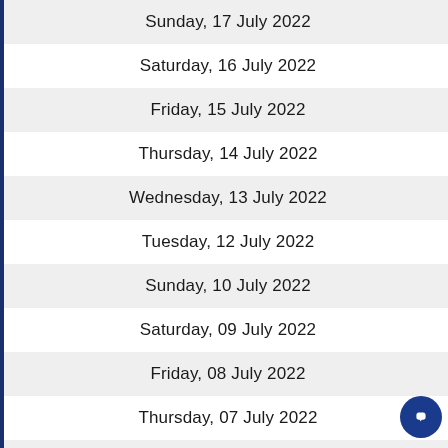Sunday, 17 July 2022
Saturday, 16 July 2022
Friday, 15 July 2022
Thursday, 14 July 2022
Wednesday, 13 July 2022
Tuesday, 12 July 2022
Sunday, 10 July 2022
Saturday, 09 July 2022
Friday, 08 July 2022
Thursday, 07 July 2022